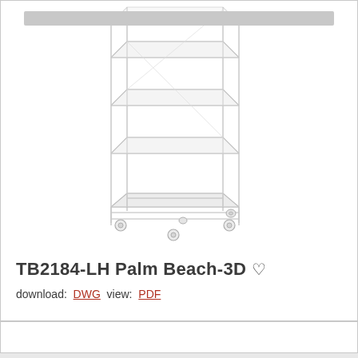[Figure (schematic): Isometric line drawing of a tall narrow shelf unit (TB2184-LH Palm Beach-3D) with multiple shelves and decorative feet/casters at the base, rendered in light gray wireframe style.]
TB2184-LH  Palm Beach-3D  ♡
download:  DWG  view:  PDF